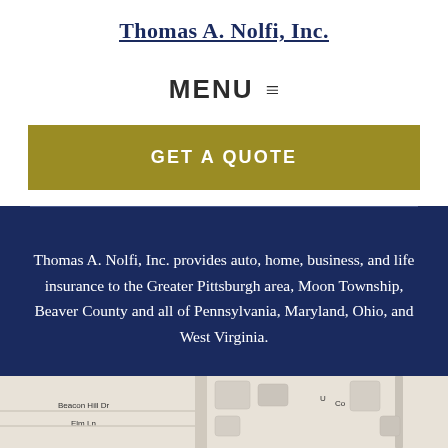Thomas A. Nolfi, Inc.
MENU ≡
GET A QUOTE
Thomas A. Nolfi, Inc. provides auto, home, business, and life insurance to the Greater Pittsburgh area, Moon Township, Beaver County and all of Pennsylvania, Maryland, Ohio, and West Virginia.
[Figure (map): Street map showing Beacon Hill Dr, Elm Ln, and other local roads near the office location.]